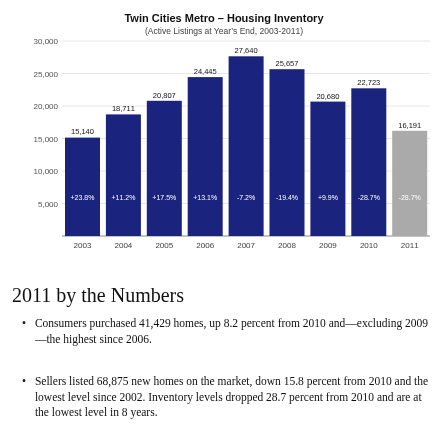[Figure (bar-chart): Twin Cities Metro – Housing Inventory]
2011 by the Numbers
Consumers purchased 41,429 homes, up 8.2 percent from 2010 and—excluding 2009—the highest since 2006.
Sellers listed 68,875 new homes on the market, down 15.8 percent from 2010 and the lowest level since 2002. Inventory levels dropped 28.7 percent from 2010 and are at the lowest level in 8 years.